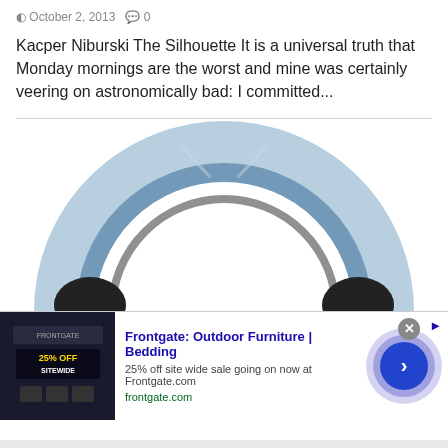October 2, 2013   0
Kacper Niburski The Silhouette It is a universal truth that Monday mornings are the worst and mine was certainly veering on astronomically bad: I committed...
[Figure (illustration): Partial view of stylized blue and gray headphones from above, showing the curved headband arc and two ear cups at bottom corners]
[Figure (other): Advertisement banner for Frontgate: Outdoor Furniture | Bedding. Shows '25% off site wide sale going on now at Frontgate.com' with frontgate.com URL, a dark product image on the left showing '25% OFF SITEWIDE', and a blue circular play/next button on the right. Has a close button (X) and an info arrow.]